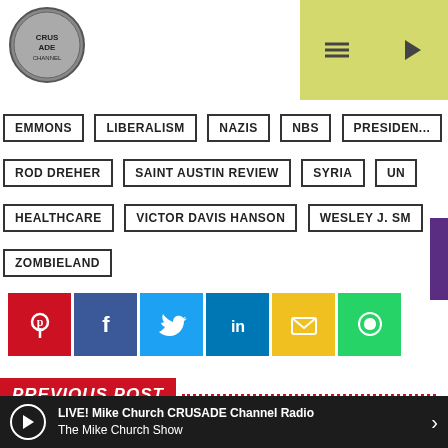[Figure (logo): Crusade Channel logo, circular coin-style badge]
[Figure (infographic): Navigation header with hamburger menu and play button on yellow-green background]
EMMONS
LIBERALISM
NAZIS
NBS
PRESIDENT
ROD DREHER
SAINT AUSTIN REVIEW
SYRIA
UN
HEALTHCARE
VICTOR DAVIS HANSON
WESLEY J. SM
ZOMBIELAND
[Figure (infographic): Social sharing buttons: Pinterest (red), Facebook (dark blue), Twitter (light blue), LinkedIn (blue), Email (yellow), WhatsApp (green)]
PREVIOUS POST
[Figure (photo): Partial photo of a person with brown hair, back of head visible]
LIVE! Mike Church CRUSADE Channel Radio The Mike Church Show